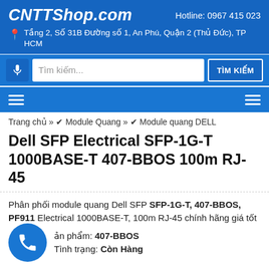CNTTShop.com  Hotline: 0967 415 023  Tầng 2, Số 31B Đường số 1, An Phú, Quận 2 (Thủ Đức), TP HCM
Tìm kiếm...  TÌM KIẾM
Trang chủ » ✔ Module Quang » ✔ Module quang DELL
Dell SFP Electrical SFP-1G-T 1000BASE-T 407-BBOS 100m RJ-45
Phân phối module quang Dell SFP SFP-1G-T, 407-BBOS, PF911 Electrical 1000BASE-T, 100m RJ-45 chính hãng giá tốt
Mã sản phẩm: 407-BBOS
Tình trạng: Còn Hàng